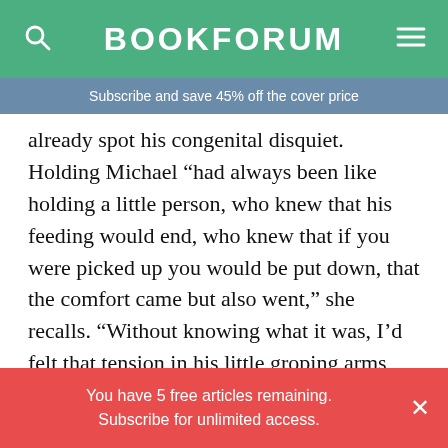BOOKFORUM
Subscribe and save 45% off the cover price
already spot his congenital disquiet. Holding Michael “had always been like holding a little person, who knew that his feeding would end, who knew that if you were picked up you would be put down, that the comfort came but also went,” she recalls. “Without knowing what it was, I’d felt that tension in his little groping arms and fitful legs, the discomfort of the foreknowledge.” That tension becomes, in the adult Michael, an anxiety disorder that powers his two obsessions. The first is dance
You have 5 free articles remaining. Subscribe for unlimited access.